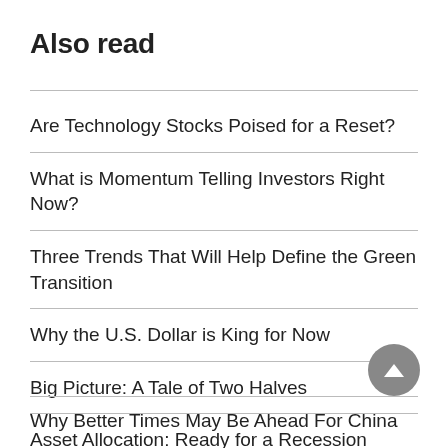Also read
Are Technology Stocks Poised for a Reset?
What is Momentum Telling Investors Right Now?
Three Trends That Will Help Define the Green Transition
Why the U.S. Dollar is King for Now
Big Picture:  A Tale of Two Halves
Asset Allocation: Ready for a Recession
Why Better Times May Be Ahead For China